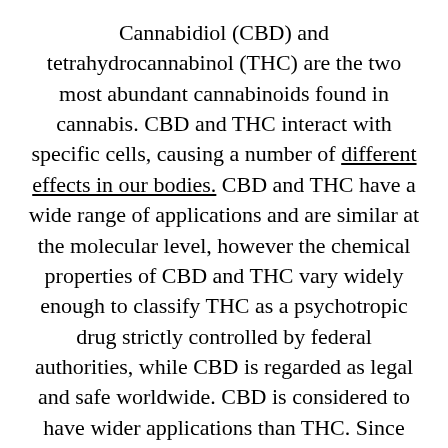Cannabidiol (CBD) and tetrahydrocannabinol (THC) are the two most abundant cannabinoids found in cannabis. CBD and THC interact with specific cells, causing a number of different effects in our bodies. CBD and THC have a wide range of applications and are similar at the molecular level, however the chemical properties of CBD and THC vary widely enough to classify THC as a psychotropic drug strictly controlled by federal authorities, while CBD is regarded as legal and safe worldwide. CBD is considered to have wider applications than THC. Since CBD has been much less studied than THC, scientists assume that there are many new applications of CBD that